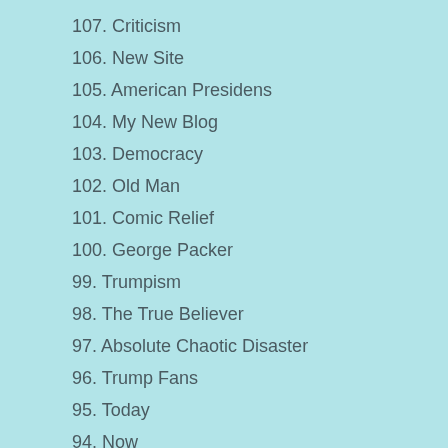107. Criticism
106. New Site
105. American Presidens
104. My New Blog
103. Democracy
102. Old Man
101. Comic Relief
100. George Packer
99. Trumpism
98. The True Believer
97. Absolute Chaotic Disaster
96. Trump Fans
95. Today
94. Now
93. Leadership
92. 1,000,000